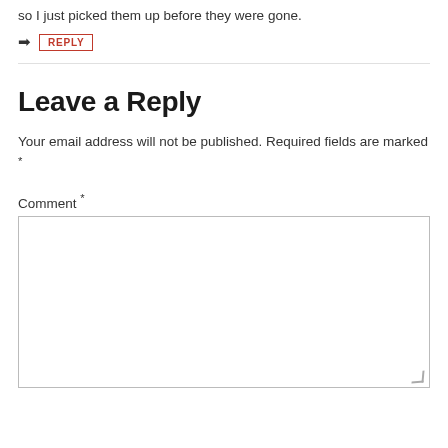so I just picked them up before they were gone.
➜ REPLY
Leave a Reply
Your email address will not be published. Required fields are marked *
Comment *